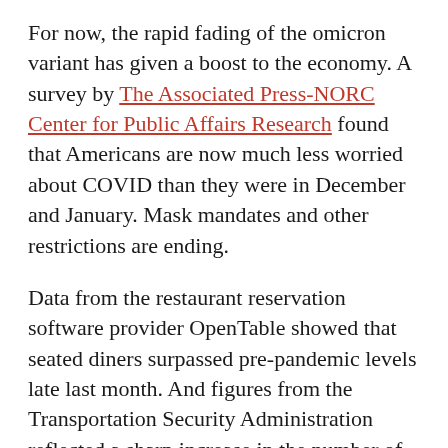For now, the rapid fading of the omicron variant has given a boost to the economy. A survey by The Associated Press-NORC Center for Public Affairs Research found that Americans are now much less worried about COVID than they were in December and January. Mask mandates and other restrictions are ending.
Data from the restaurant reservation software provider OpenTable showed that seated diners surpassed pre-pandemic levels late last month. And figures from the Transportation Security Administration reflected a sharp increase in the number of people willing to take airplane flights.
During the omicron wave, businesses barely wavered in their demand for workers. Job openings at the end